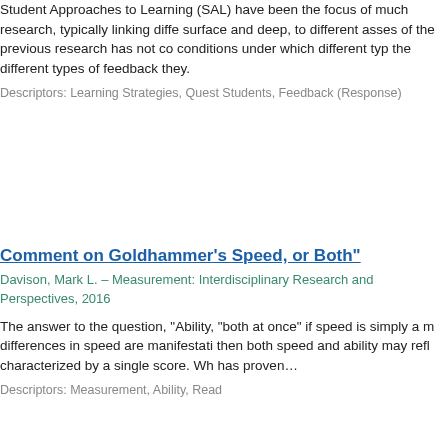Student Approaches to Learning (SAL) have been the focus of much research, typically linking diffe surface and deep, to different asses of the previous research has not co conditions under which different typ the different types of feedback they.
Descriptors: Learning Strategies, Quest Students, Feedback (Response)
Comment on Goldhammer's Speed, or Both"
Davison, Mark L. – Measurement: Interdisciplinary Research and Perspectives, 2016
The answer to the question, "Ability, "both at once" if speed is simply a m differences in speed are manifestati then both speed and ability may refl characterized by a single score. Wh has proven...
Descriptors: Measurement, Ability, Read